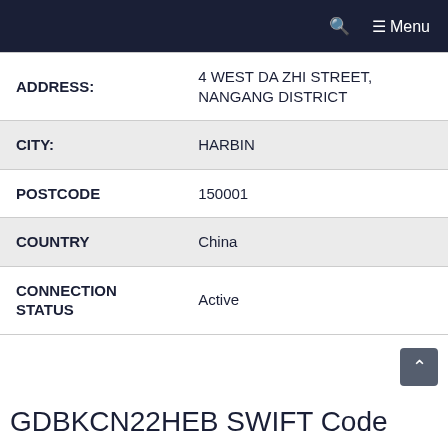Menu
| ADDRESS: | 4 WEST DA ZHI STREET, NANGANG DISTRICT |
| CITY: | HARBIN |
| POSTCODE | 150001 |
| COUNTRY | China |
| CONNECTION STATUS | Active |
GDBKCN22HEB SWIFT Code